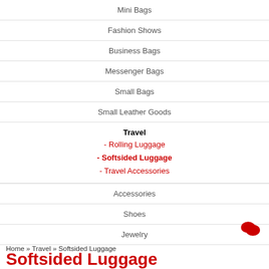Mini Bags
Fashion Shows
Business Bags
Messenger Bags
Small Bags
Small Leather Goods
Travel - Rolling Luggage - Softsided Luggage - Travel Accessories
Accessories
Shoes
Jewelry
Home » Travel » Softsided Luggage
Softsided Luggage